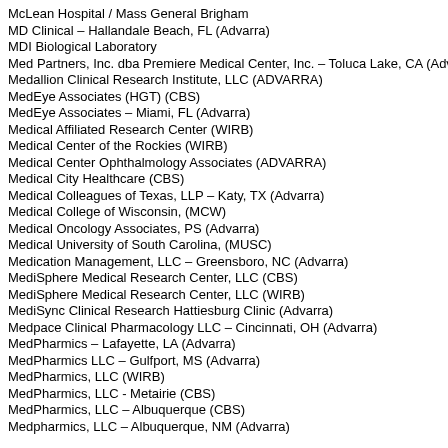McLean Hospital / Mass General Brigham
MD Clinical – Hallandale Beach, FL (Advarra)
MDI Biological Laboratory
Med Partners, Inc. dba Premiere Medical Center, Inc. – Toluca Lake, CA (Advarra)
Medallion Clinical Research Institute, LLC (ADVARRA)
MedEye Associates (HGT) (CBS)
MedEye Associates – Miami, FL (Advarra)
Medical Affiliated Research Center (WIRB)
Medical Center of the Rockies (WIRB)
Medical Center Ophthalmology Associates (ADVARRA)
Medical City Healthcare (CBS)
Medical Colleagues of Texas, LLP – Katy, TX (Advarra)
Medical College of Wisconsin, (MCW)
Medical Oncology Associates, PS (Advarra)
Medical University of South Carolina, (MUSC)
Medication Management, LLC – Greensboro, NC (Advarra)
MediSphere Medical Research Center, LLC (CBS)
MediSphere Medical Research Center, LLC (WIRB)
MediSync Clinical Research Hattiesburg Clinic (Advarra)
Medpace Clinical Pharmacology LLC – Cincinnati, OH (Advarra)
MedPharmics – Lafayette, LA (Advarra)
MedPharmics LLC – Gulfport, MS (Advarra)
MedPharmics, LLC (WIRB)
MedPharmics, LLC - Metairie (CBS)
MedPharmics, LLC – Albuquerque (CBS)
Medpharmics, LLC – Albuquerque, NM (Advarra)